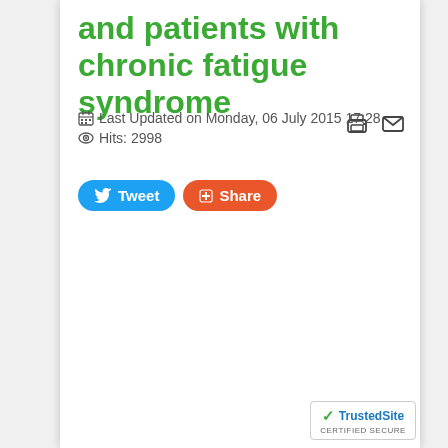and patients with chronic fatigue syndrome
Last Updated on Monday, 06 July 2015 17:28
Hits: 2998
[Figure (other): Print and email icon buttons in top right]
[Figure (other): Tweet and Share social media buttons]
[Figure (logo): TrustedSite CERTIFIED SECURE badge in bottom right corner]